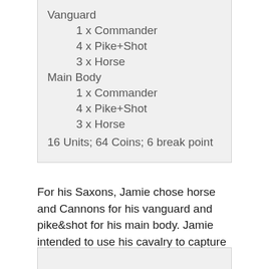Vanguard
1 x Commander
4 x Pike+Shot
3 x Horse
Main Body
1 x Commander
4 x Pike+Shot
3 x Horse
16 Units; 64 Coins; 6 break point
For his Saxons, Jamie chose horse and Cannons for his vanguard and pike&shot for his main body. Jamie intended to use his cavalry to capture the hill quickly.